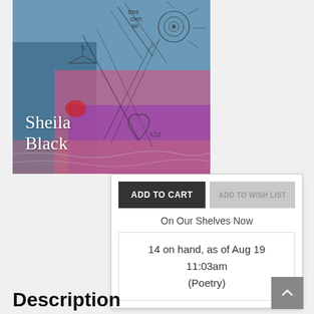[Figure (illustration): Book cover with colorful abstract mixed-media art in blues, pinks, purples, and reds with pencil/ink sketch lines and drawings. Author name 'Sheila Black' written in white serif text at bottom left.]
ADD TO CART
ADD TO WISH LIST
On Our Shelves Now
14 on hand, as of Aug 19 11:03am
(Poetry)
Description